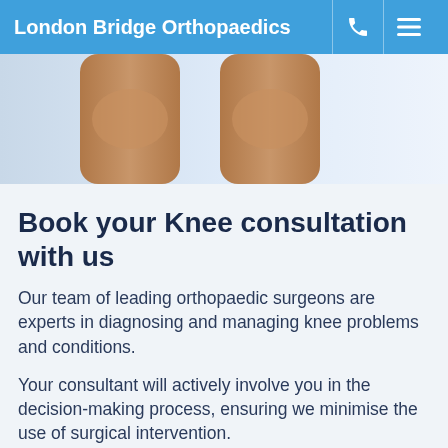London Bridge Orthopaedics
[Figure (photo): Close-up photo of a person's knees and lower legs, standing outdoors with a bright background]
Book your Knee consultation with us
Our team of leading orthopaedic surgeons are experts in diagnosing and managing knee problems and conditions.
Your consultant will actively involve you in the decision-making process, ensuring we minimise the use of surgical intervention.